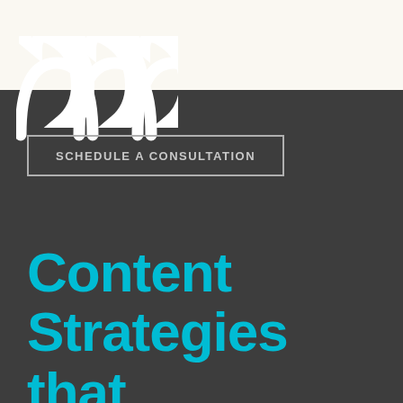[Figure (logo): Decorative logo mark showing three rounded arch shapes (omega-like symbol) in white on a cream background, partially cropped at top]
SCHEDULE A CONSULTATION
Content Strategies that Increase